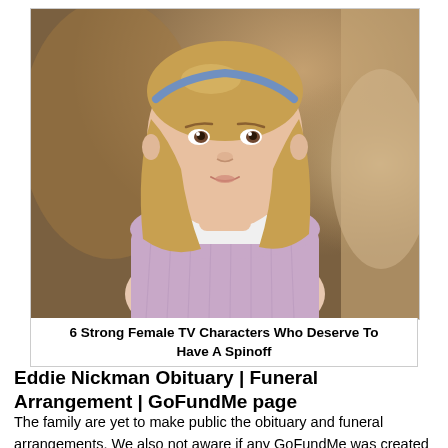[Figure (photo): Young girl with shoulder-length blonde hair wearing a blue headband and a light purple/lavender knit sweater over a white turtleneck, looking upward, indoor blurred background.]
6 Strong Female TV Characters Who Deserve To Have A Spinoff
Eddie Nickman Obituary | Funeral Arrangement | GoFundMe page
The family are yet to make public the obituary and funeral arrangements. We also not aware if any GoFundMe was created by the family or friends of the deceased at the time of